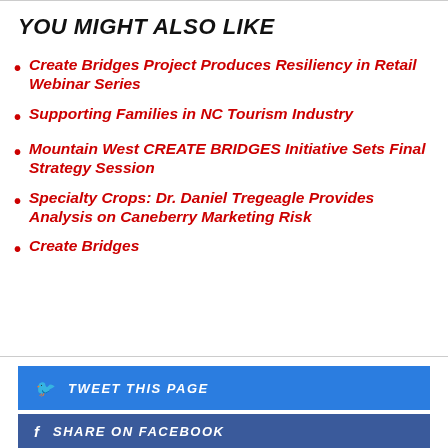YOU MIGHT ALSO LIKE
Create Bridges Project Produces Resiliency in Retail Webinar Series
Supporting Families in NC Tourism Industry
Mountain West CREATE BRIDGES Initiative Sets Final Strategy Session
Specialty Crops: Dr. Daniel Tregeagle Provides Analysis on Caneberry Marketing Risk
Create Bridges
TWEET THIS PAGE
SHARE ON FACEBOOK